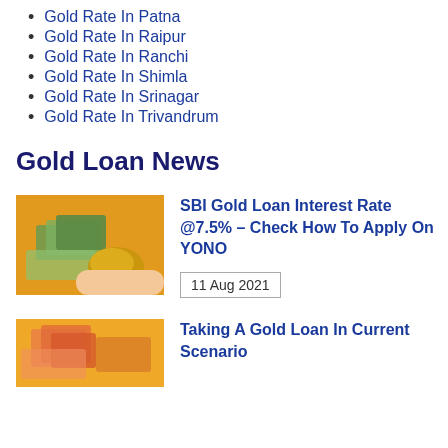Gold Rate In Patna
Gold Rate In Raipur
Gold Rate In Ranchi
Gold Rate In Shimla
Gold Rate In Srinagar
Gold Rate In Trivandrum
Gold Loan News
[Figure (photo): Hand holding Indian currency notes and gold jewelry on orange background]
SBI Gold Loan Interest Rate @7.5% – Check How To Apply On YONO
11 Aug 2021
[Figure (photo): Indian currency notes on orange background]
Taking A Gold Loan In Current Scenario